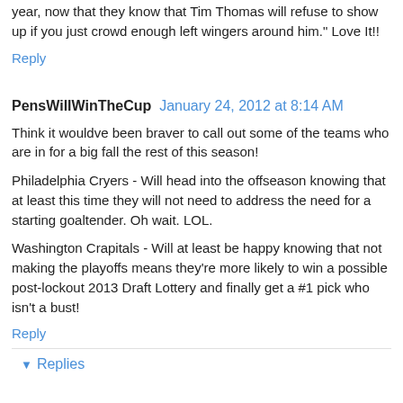year, now that they know that Tim Thomas will refuse to show up if you just crowd enough left wingers around him." Love It!!
Reply
PensWillWinTheCup  January 24, 2012 at 8:14 AM
Think it wouldve been braver to call out some of the teams who are in for a big fall the rest of this season!
Philadelphia Cryers - Will head into the offseason knowing that at least this time they will not need to address the need for a starting goaltender. Oh wait. LOL.
Washington Crapitals - Will at least be happy knowing that not making the playoffs means they're more likely to win a possible post-lockout 2013 Draft Lottery and finally get a #1 pick who isn't a bust!
Reply
Replies